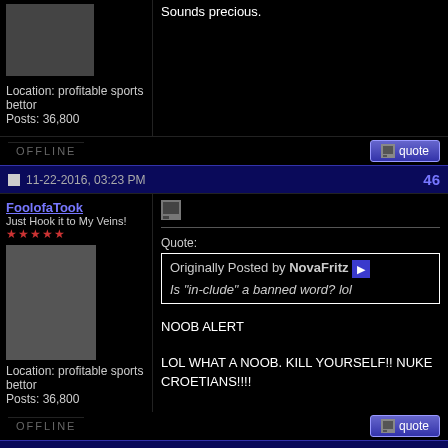Location: profitable sports bettor
Posts: 36,800
[Figure (screenshot): Quote button with icon]
OFFLINE
11-22-2016, 03:23 PM  46
FoolofaTook
Just Hook it to My Veins!
★★★★★
[Figure (photo): User avatar - person wearing cap and yellow sunglasses]
Location: profitable sports bettor
Posts: 36,800
Quote:
Originally Posted by NovaFritz
Is "in-clude" a banned word? lol
NOOB ALERT

LOL WHAT A NOOB. KILL YOURSELF!! NUKE CROETIANS!!!!
[Figure (screenshot): Quote button with icon]
OFFLINE
11-22-2016, 03:33 PM  47